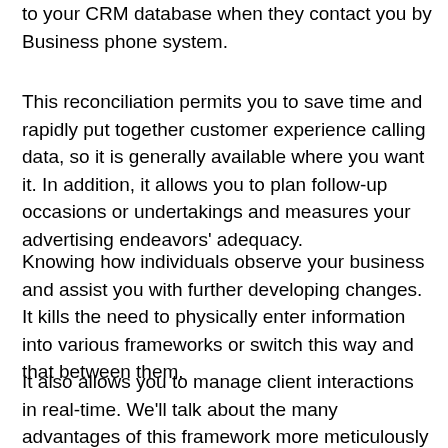to your CRM database when they contact you by Business phone system.
This reconciliation permits you to save time and rapidly put together customer experience calling data, so it is generally available where you want it. In addition, it allows you to plan follow-up occasions or undertakings and measures your advertising endeavors' adequacy.
Knowing how individuals observe your business and assist you with further developing changes. It kills the need to physically enter information into various frameworks or switch this way and that between them.
It also allows you to manage client interactions in real-time. We'll talk about the many advantages of this framework more meticulously soon.